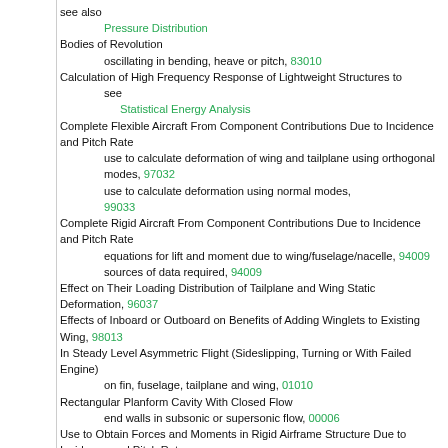see also
Pressure Distribution
Bodies of Revolution
    oscillating in bending, heave or pitch, 83010
Calculation of High Frequency Response of Lightweight Structures to
    see
    Statistical Energy Analysis
Complete Flexible Aircraft From Component Contributions Due to Incidence and Pitch Rate
    use to calculate deformation of wing and tailplane using orthogonal modes, 97032
    use to calculate deformation using normal modes, 99033
Complete Rigid Aircraft From Component Contributions Due to Incidence and Pitch Rate
    equations for lift and moment due to wing/fuselage/nacelle, 94009
    sources of data required, 94009
Effect on Their Loading Distribution of Tailplane and Wing Static Deformation, 96037
Effects of Inboard or Outboard on Benefits of Adding Winglets to Existing Wing, 98013
In Steady Level Asymmetric Flight (Sideslipping, Turning or With Failed Engine)
    on fin, fuselage, tailplane and wing, 01010
Rectangular Planform Cavity With Closed Flow
    end walls in subsonic or supersonic flow, 00006
Use to Obtain Forces and Moments in Rigid Airframe Structure Due to Incidence and Pitch Rate